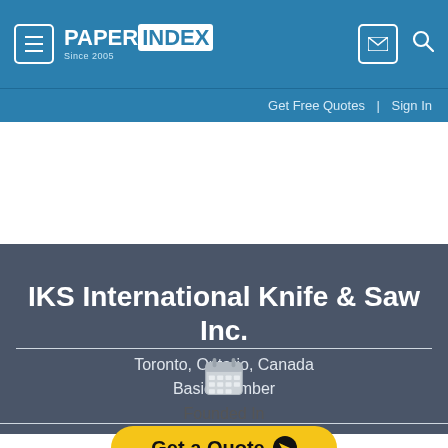PAPER INDEX Since 2005 | Get Free Quotes | Sign In
IKS International Knife & Saw Inc.
Toronto, Ontario, Canada
Basic Member
Profile ▾
[Figure (illustration): Calendar icon in light gray]
Founded In
Get a Quote ❯
It's free and easy